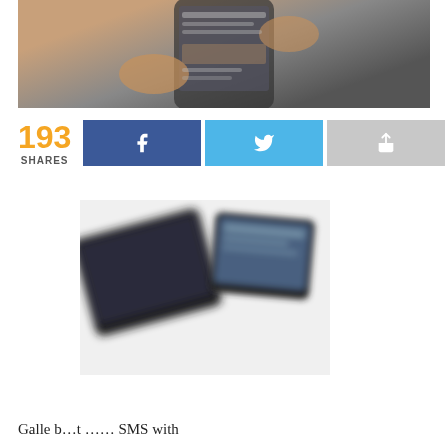[Figure (photo): A person holding a smartphone, visible from waist up, phone screen showing content, dark tones with warm skin tones]
193
SHARES
[Figure (screenshot): Facebook share button (dark blue with f icon), Twitter share button (light blue with bird icon), generic share button (gray with arrow icon)]
[Figure (photo): Blurred close-up of two smartphones or tablet devices, dark hardware with glowing screens, partially visible]
Galle b...t .... SMS with